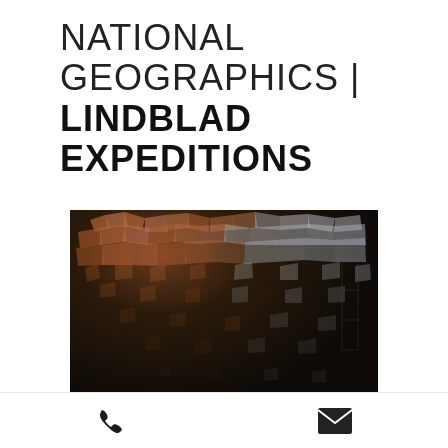NATIONAL GEOGRAPHICS | LINDBLAD EXPEDITIONS
[Figure (photo): Close-up macro photograph of salt crystals or ice crystals scattered on a dark background, with warm pinkish-orange tones in upper left fading to cool transparent crystals on the right]
Phone icon and Email icon